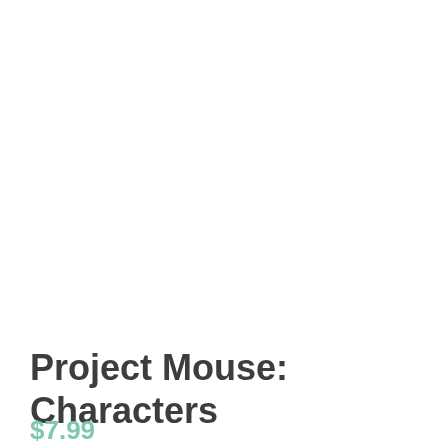Project Mouse: Characters
$7.99